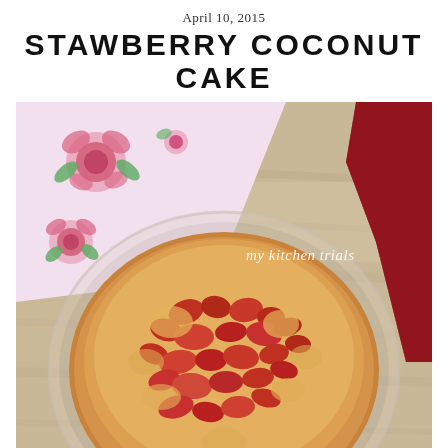April 10, 2015
STAWBERRY COCONUT CAKE
[Figure (photo): Overhead shot of a strawberry coconut cake in a glass pie dish on a wooden table. A pink floral cloth and red cloth are visible in the upper corners. Watermark reads 'my kitchen trials'.]